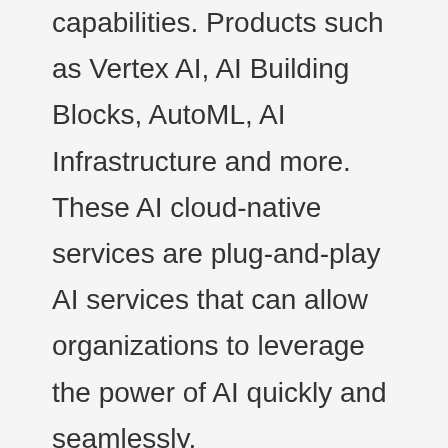capabilities. Products such as Vertex AI, AI Building Blocks, AutoML, AI Infrastructure and more. These AI cloud-native services are plug-and-play AI services that can allow organizations to leverage the power of AI quickly and seamlessly.
Further, AWS also offers pre-trained AI services that provide ready-made AI-enabled services to apply to a given application, service or workflow in a cloud-native application. Here, AWS promotes the common use of these AI-based services to support personalized recommendations, modernizing your contact center, improving safety and security, and increasing customer engagement.